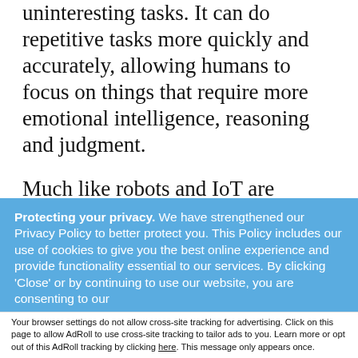uninteresting tasks. It can do repetitive tasks more quickly and accurately, allowing humans to focus on things that require more emotional intelligence, reasoning and judgment.
Much like robots and IoT are increasing production and quality in manufacturing, RPA can improve processes, IT, workflow, infrastructure and back-office operations
Protecting your privacy. We have strengthened our Privacy Policy to better protect you. This Policy includes our use of cookies to give you the best online experience and provide functionality essential to our services. By clicking 'Close' or by continuing to use our website, you are consenting to our
Accept and Close ✕
Your browser settings do not allow cross-site tracking for advertising. Click on this page to allow AdRoll to use cross-site tracking to tailor ads to you. Learn more or opt out of this AdRoll tracking by clicking here. This message only appears once.